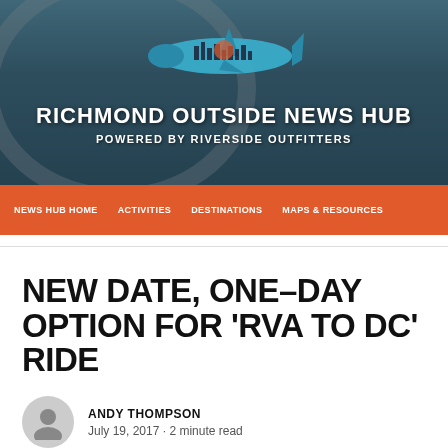[Figure (illustration): Richmond Outside News Hub website header banner showing a bridge over a river with a shark logo (Riverside Outfitters branding) against a sky background]
RICHMOND OUTSIDE NEWS HUB
POWERED BY RIVERSIDE OUTFITTERS
NEWS HUB HOME  ACTIVITIES  DESTINATIONS  MAPS & RESOURCES
NEW DATE, ONE-DAY OPTION FOR 'RVA TO DC' RIDE
ANDY THOMPSON
July 19, 2017 · 2 minute read